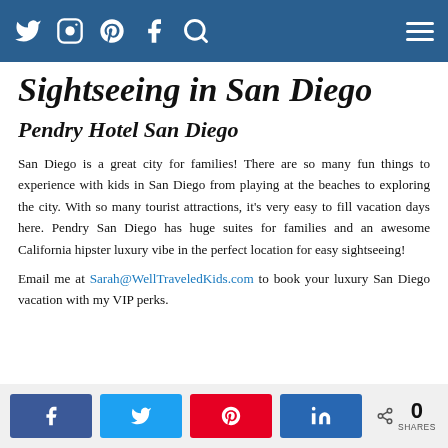Navigation bar with social icons (Twitter, Instagram, Pinterest, Facebook, Search) and hamburger menu
Sightseeing in San Diego
Pendry Hotel San Diego
San Diego is a great city for families! There are so many fun things to experience with kids in San Diego from playing at the beaches to exploring the city. With so many tourist attractions, it's very easy to fill vacation days here. Pendry San Diego has huge suites for families and an awesome California hipster luxury vibe in the perfect location for easy sightseeing!
Email me at Sarah@WellTraveledKids.com to book your luxury San Diego vacation with my VIP perks.
Share buttons: Facebook, Twitter, Pinterest, LinkedIn. 0 SHARES